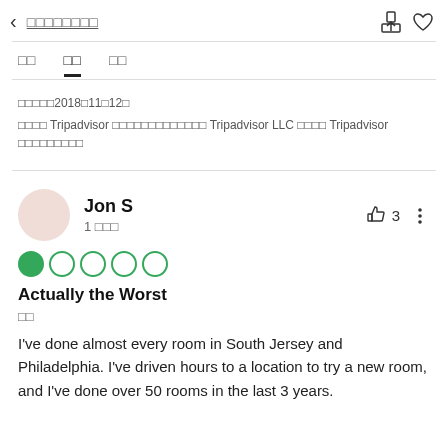< □□□□□□□□
□□  □□  □□
□□□□□2018□11□12□
□□□□ Tripadvisor □□□□□□□□□□□□□ Tripadvisor LLC □□□□ Tripadvisor □□□□□□□□□
Jon S
1 □□□
[Figure (other): 1 out of 5 circle rating: one filled green circle followed by four empty circles]
Actually the Worst
□□
I've done almost every room in South Jersey and Philadelphia. I've driven hours to a location to try a new room, and I've done over 50 rooms in the last 3 years.